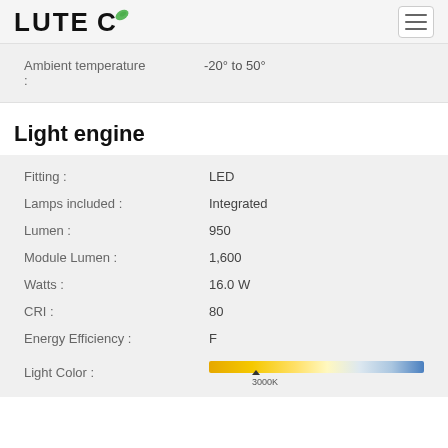LUTEC
| Property | Value |
| --- | --- |
| Ambient temperature : | -20° to 50° |
Light engine
| Property | Value |
| --- | --- |
| Fitting : | LED |
| Lamps included : | Integrated |
| Lumen : | 950 |
| Module Lumen : | 1,600 |
| Watts : | 16.0 W |
| CRI : | 80 |
| Energy Efficiency : | F |
| Light Color : | 3000K (color bar) |